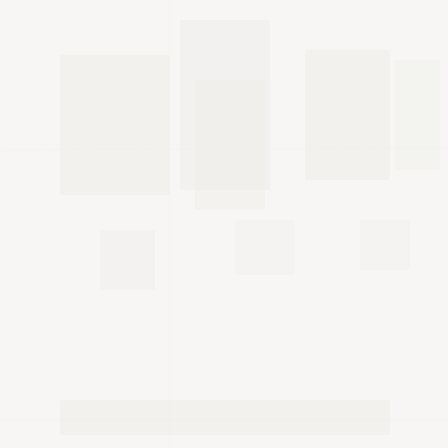[Figure (photo): A nearly blank or heavily faded/washed-out page with very faint light gray texture or ghosted image outlines, almost entirely white with subtle tonal variation across the surface.]